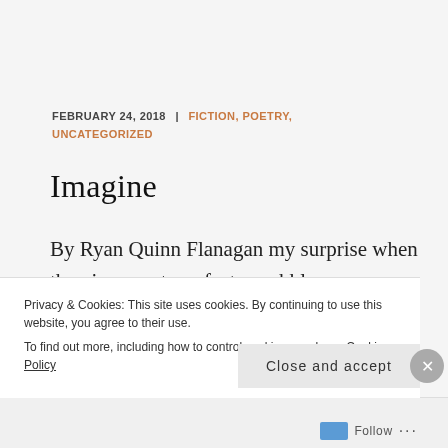FEBRUARY 24, 2018 | FICTION, POETRY, UNCATEGORIZED
Imagine
By Ryan Quinn Flanagan my surprise when the pigeons at my feet squabble over a single spent shoelace with no nutritional value and the guy
Privacy & Cookies: This site uses cookies. By continuing to use this website, you agree to their use.
To find out more, including how to control cookies, see here: Cookie Policy
Close and accept